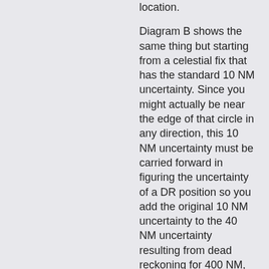location.
Diagram B shows the same thing but starting from a celestial fix that has the standard 10 NM uncertainty. Since you might actually be near the edge of that circle in any direction, this 10 NM uncertainty must be carried forward in figuring the uncertainty of a DR position so you add the original 10 NM uncertainty to the 40 NM uncertainty resulting from dead reckoning for 400 NM, so you draw the circle of uncertainty with a 50 NM radius.